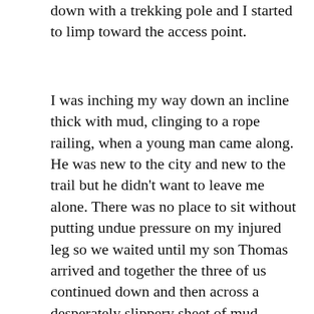down with a trekking pole and I started to limp toward the access point.
I was inching my way down an incline thick with mud, clinging to a rope railing, when a young man came along. He was new to the city and new to the trail but he didn't want to leave me alone. There was no place to sit without putting undue pressure on my injured leg so we waited until my son Thomas arrived and together the three of us continued down and then across a desperately slippery sheet of mud-covered ice. Soon a third helper arrived, one of the men I regularly meet and talk to on this path, and he provided extra support as we made our way up another hill and down a flight of rough steps to an open paved